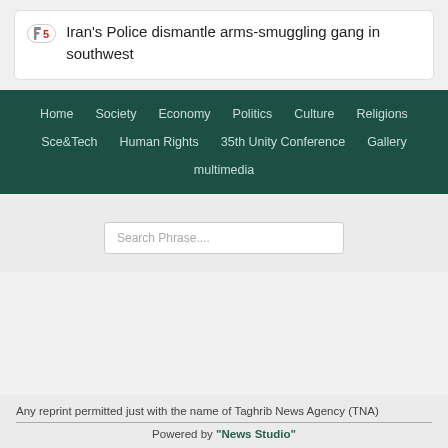5 Iran's Police dismantle arms-smuggling gang in southwest
Home
Society
Economy
Politics
Culture
Religions
Sce&Tech
Human Rights
35th Unity Conference
Gallery
multimedia
Search Phrase....
Any reprint permitted just with the name of Taghrib News Agency (TNA)
Powered by "News Studio"